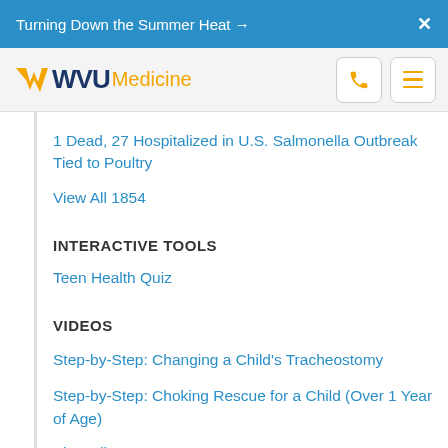Turning Down the Summer Heat →   X
[Figure (logo): WVU Medicine logo with flying WV in gold and navy, phone and menu icons]
1 Dead, 27 Hospitalized in U.S. Salmonella Outbreak Tied to Poultry
View All 1854
INTERACTIVE TOOLS
Teen Health Quiz
VIDEOS
Step-by-Step: Changing a Child's Tracheostomy
Step-by-Step: Choking Rescue for a Child (Over 1 Year of Age)
View All 4